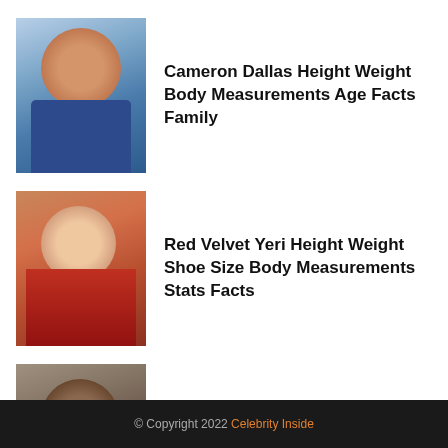Cameron Dallas Height Weight Body Measurements Age Facts Family
Red Velvet Yeri Height Weight Shoe Size Body Measurements Stats Facts
Jay-Z Favorite Cigar Movies Sports Team Hobbies Color Food Biography
© Copyright 2022 Celebrity Inside